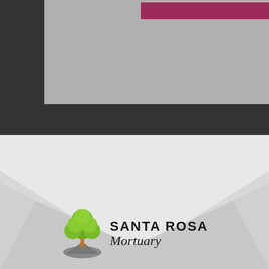[Figure (screenshot): Dark gray background with a light gray box containing a dark pink/maroon horizontal bar near the top. Appears to be a cropped website or UI element.]
[Figure (logo): Santa Rosa Mortuary logo: a green tree with an orange trunk on a gray rocky base, with 'SANTA ROSA' in bold sans-serif capitals and 'Mortuary' in italic script, on a light gray background with mountain/hill shapes.]